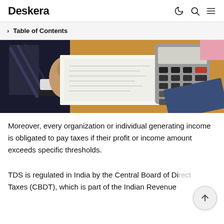Deskera
> Table of Contents
[Figure (photo): Overhead view of a person in a suit writing on documents on a wooden desk with a calculator and blue folder.]
Moreover, every organization or individual generating income is obligated to pay taxes if their profit or income amount exceeds specific thresholds.
TDS is regulated in India by the Central Board of Direct Taxes (CBDT), which is part of the Indian Revenue